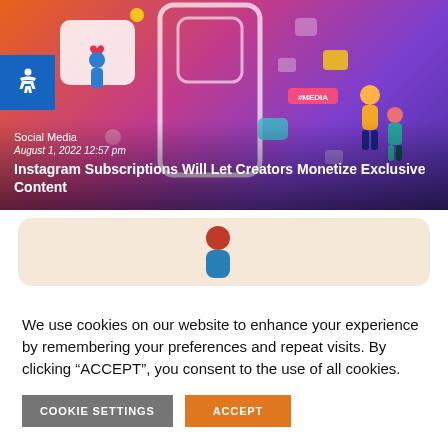[Figure (illustration): Social media themed hero image with gradient background (orange to purple), showing a smartphone, heart notification, people icons, and social media UI elements. Blue accessibility icon in top-left corner.]
Social Media
August 1, 2022 12:57 pm
Instagram Subscriptions Will Let Creators Monetize Exclusive Content
[Figure (illustration): Partial illustration card with beige/peach background showing a person figure in blue and red, cropped at bottom of visible area.]
We use cookies on our website to enhance your experience by remembering your preferences and repeat visits. By clicking “ACCEPT”, you consent to the use of all cookies.